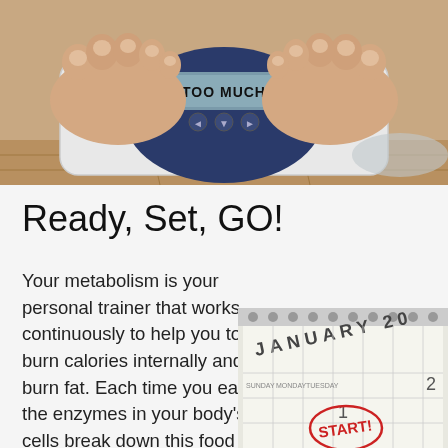[Figure (photo): Person standing on a bathroom scale with digital display reading 'TOO MUCH', view from above showing feet on scale]
Ready, Set, GO!
Your metabolism is your personal trainer that works continuously to help you to burn calories internally and burn fat. Each time you eat, the enzymes in your body's cells break down this food and turn it into energy that keeps
[Figure (photo): Calendar opened to January with the word START! circled in red marker]